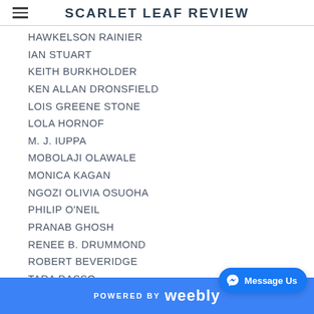SCARLET LEAF REVIEW
HAWKELSON RAINIER
IAN STUART
KEITH BURKHOLDER
KEN ALLAN DRONSFIELD
LOIS GREENE STONE
LOLA HORNOF
M. J. IUPPA
MOBOLAJI OLAWALE
MONICA KAGAN
NGOZI OLIVIA OSUOHA
PHILIP O'NEIL
PRANAB GHOSH
RENEE B. DRUMMOND
ROBERT BEVERIDGE
TARA DASSO
THOMAS PIEKARSKI
VATSALA RADHAKEESOON
POWERED BY weebly